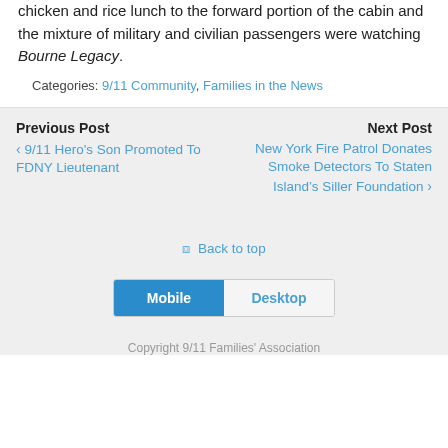chicken and rice lunch to the forward portion of the cabin and the mixture of military and civilian passengers were watching Bourne Legacy.
Categories: 9/11 Community, Families in the News
Previous Post
‹ 9/11 Hero's Son Promoted To FDNY Lieutenant
Next Post
New York Fire Patrol Donates Smoke Detectors To Staten Island's Siller Foundation ›
⇧ Back to top
Mobile | Desktop
Copyright 9/11 Families' Association